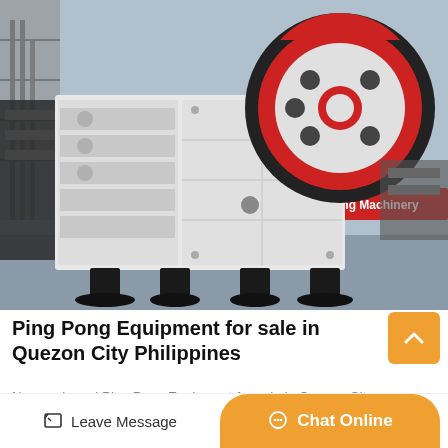[Figure (photo): Industrial jaw crusher machine with large black and red flywheel, white painted body with ribbed structure, standing on black rubber pads on a factory floor. Background shows a warehouse with a red banner reading 'Leading Mining Machinery'.]
Ping Pong Equipment for sale in Quezon City Philippines
New and used Ping Pong Equipment for sale in Quezon City,